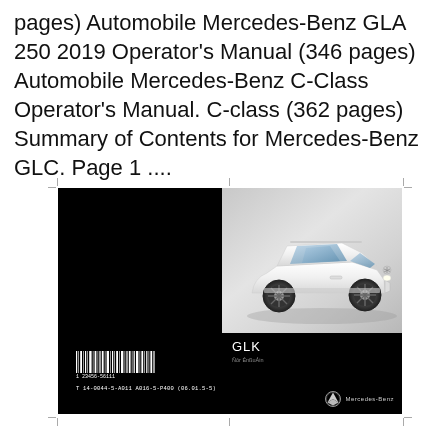pages) Automobile Mercedes-Benz GLA 250 2019 Operator's Manual (346 pages) Automobile Mercedes-Benz C-Class Operator's Manual. C-class (362 pages) Summary of Contents for Mercedes-Benz GLC. Page 1 ....
[Figure (photo): Cover of a Mercedes-Benz GLK Operator's Manual. Left half is black with a barcode at the bottom. Right half shows a white Mercedes-Benz GLK SUV on a light gray background, with 'GLK' and subtitle text on a black lower panel, and the Mercedes-Benz three-pointed star logo with brand name at bottom right.]